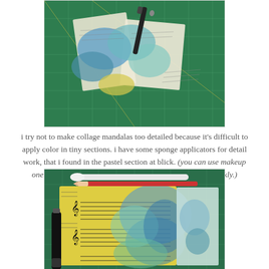[Figure (photo): A collage mandala project on a green cutting mat, showing colorful patchwork paper pieces in blue, teal, and yellow tones with text, and a black marker pen resting on top.]
i try not to make collage mandalas too detailed because it's difficult to apply color in tiny sections. i have some sponge applicators for detail work, that i found in the pastel section at blick. (you can use makeup ones, but they tend to be flimsier and they shred pretty quickly.)
[Figure (photo): A close-up photo on a green cutting mat showing a collage mandala with yellow, blue, green, and teal colors with music sheet paper, alongside a black marker, a white sponge applicator, a red pencil, and a white tool.]